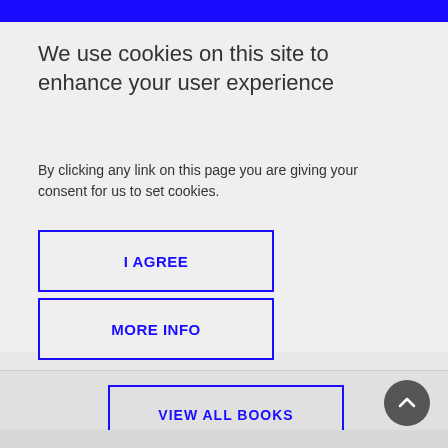We use cookies on this site to enhance your user experience
By clicking any link on this page you are giving your consent for us to set cookies.
I AGREE
MORE INFO
VIEW ALL BOOKS